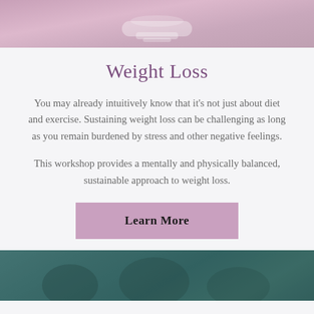[Figure (photo): Top portion of a photo with a pink/mauve toned overlay, showing what appears to be a weighing scale on a surface]
Weight Loss
You may already intuitively know that it's not just about diet and exercise. Sustaining weight loss can be challenging as long as you remain burdened by stress and other negative feelings.
This workshop provides a mentally and physically balanced, sustainable approach to weight loss.
Learn More
[Figure (photo): Bottom portion of a photo with a teal/green toned overlay, showing people in what appears to be a workshop or group setting]